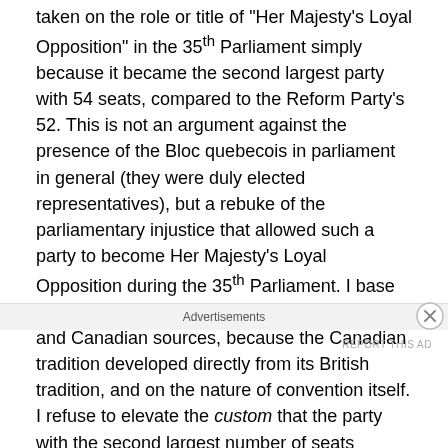taken on the role or title of "Her Majesty's Loyal Opposition" in the 35th Parliament simply because it became the second largest party with 54 seats, compared to the Reform Party's 52. This is not an argument against the presence of the Bloc quebecois in parliament in general (they were duly elected representatives), but a rebuke of the parliamentary injustice that allowed such a party to become Her Majesty's Loyal Opposition during the 35th Parliament. I base this argument on interpretations of both British and Canadian sources, because the Canadian tradition developed directly from its British tradition, and on the nature of convention itself. I refuse to elevate the custom that the party with the second largest number of seats becomes the Official Opposition to a constitutional
Advertisements